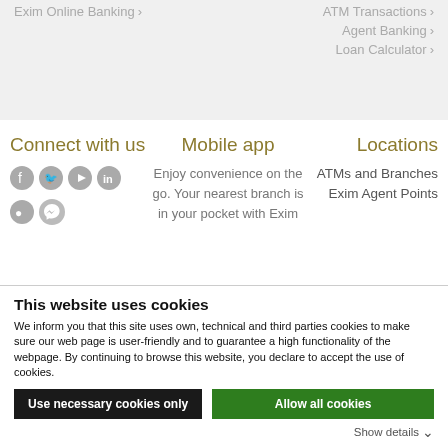Exim Online Banking >
ATM Transactions >
Agent Banking >
Loan Calculator >
Connect with us
Mobile app
Locations
Enjoy convenience on the go. Your nearest branch is in your pocket with Exim
ATMs and Branches
Exim Agent Points
This website uses cookies
We inform you that this site uses own, technical and third parties cookies to make sure our web page is user-friendly and to guarantee a high functionality of the webpage. By continuing to browse this website, you declare to accept the use of cookies.
Use necessary cookies only
Allow all cookies
Show details